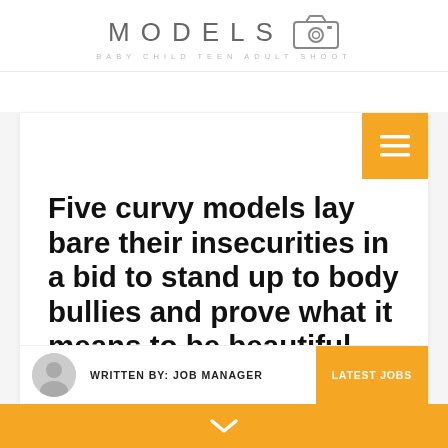MODELS — BABY CHILD TEEN ADULT SHOOT
Five curvy models lay bare their insecurities in a bid to stand up to body bullies and prove what it means to be beautiful
WRITTEN BY: JOB MANAGER
LATEST JOBS